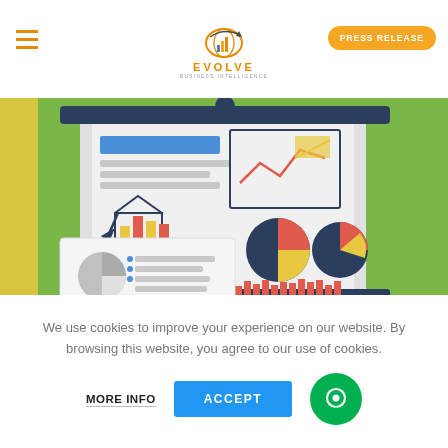EVOLVE | PRESS RELEASE
[Figure (illustration): Business analytics illustration showing two presentation boards with various charts including bar charts, pie charts, line charts, and a smaller report document in front, on a green background with yellow accent panel on the left.]
We use cookies to improve your experience on our website. By browsing this website, you agree to our use of cookies.
MORE INFO | ACCEPT